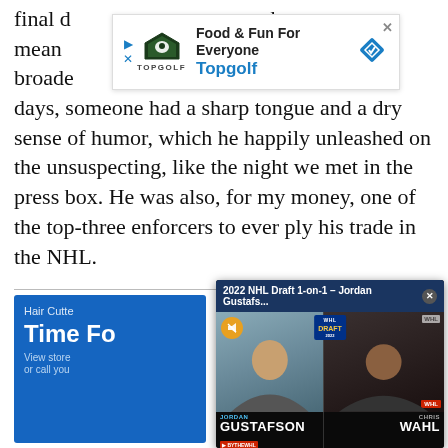final d... but meant... broade... days, someone had a sharp tongue and a dry sense of humor, which he happily unleashed on the unsuspecting, like the night we met in the press box. He was also, for my money, one of the top-three enforcers to ever ply his trade in the NHL.
[Figure (screenshot): Topgolf advertisement banner with logo and 'Food & Fun For Everyone' headline]
[Figure (screenshot): 2022 NHL Draft 1-on-1 video overlay featuring Jordan Gustafson and Chris Wahl]
[Figure (screenshot): Hair Cutter advertisement with blue background]
Potomac Green